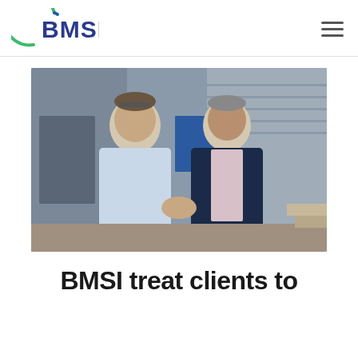BMSI
[Figure (photo): Two men standing outdoors shaking hands, one in a light blue shirt and the other in a navy blazer with a checked shirt, in front of a building.]
BMSI treat clients to